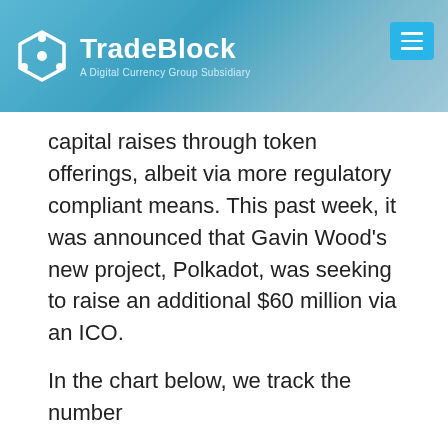TradeBlock — A Digital Currency Group Subsidiary
capital raises through token offerings, albeit via more regulatory compliant means. This past week, it was announced that Gavin Wood's new project, Polkadot, was seeking to raise an additional $60 million via an ICO.
In the chart below, we track the number